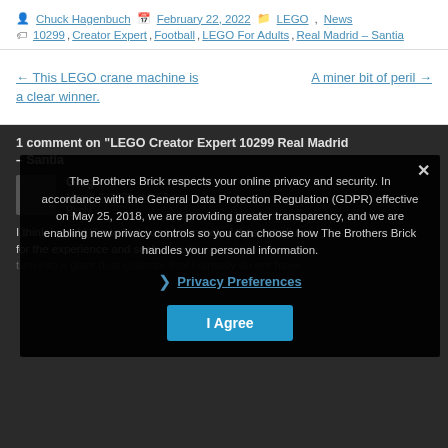Chuck Hagenbuch | February 22, 2022 | LEGO, News | 10299, Creator Expert, Football, LEGO For Adults, Real Madrid – Santia…
← This LEGO crane machine is a clear winner.
A miner bit of peril →
1 comment on "LEGO Creator Expert 10299 Real Madrid – Santia…"
Greg
March 2, 2022 at 8:57 am
I think I would like to build one (or more) of these stadiums, for the experience and such a stadium would then turn into a giant dust collector that I already do not have…
The Brothers Brick respects your online privacy and security. In accordance with the General Data Protection Regulation (GDPR) effective on May 25, 2018, we are providing greater transparency, and we are enabling new privacy controls so you can choose how The Brothers Brick handles your personal information.
Privacy Preferences
I Agree